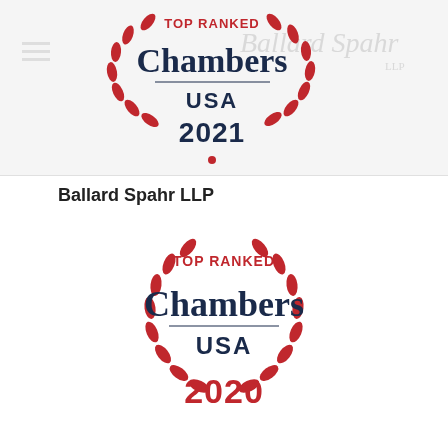[Figure (logo): Chambers USA 2021 Top Ranked badge with red laurel wreath, Ballard Spahr LLP watermark logo top right]
Ballard Spahr LLP
[Figure (logo): Chambers USA 2020 Top Ranked badge with red laurel wreath]